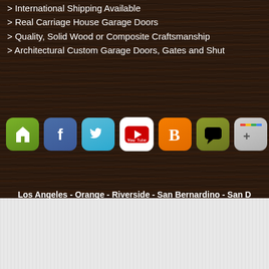> International Shipping Available
> Real Carriage House Garage Doors
> Quality, Solid Wood or Composite Craftsmanship
> Architectural Custom Garage Doors, Gates and Shut...
[Figure (infographic): Row of social media app icons: Houzz (green), Facebook (blue), Twitter (teal), YouTube (red/white), Blogger (orange), a chat bubble app (olive/black), Google+ (gray/colorful), Instagram (purple/pink gradient)]
Los Angeles - Orange - Riverside - San Bernardino - San D...